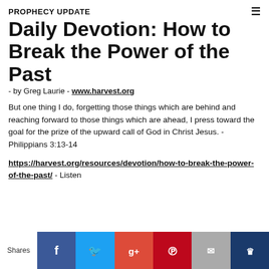PROPHECY UPDATE
Daily Devotion: How to Break the Power of the Past - by Greg Laurie - www.harvest.org
But one thing I do, forgetting those things which are behind and reaching forward to those things which are ahead, I press toward the goal for the prize of the upward call of God in Christ Jesus. -Philippians 3:13-14
https://harvest.org/resources/devotion/how-to-break-the-power-of-the-past/ - Listen